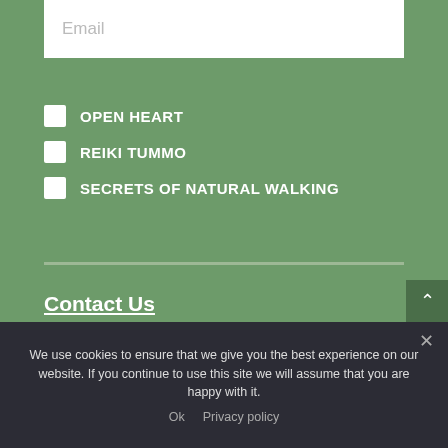Email
OPEN HEART
REIKI TUMMO
SECRETS OF NATURAL WALKING
SUBMIT
Contact Us
We use cookies to ensure that we give you the best experience on our website. If you continue to use this site we will assume that you are happy with it.
Ok   Privacy policy